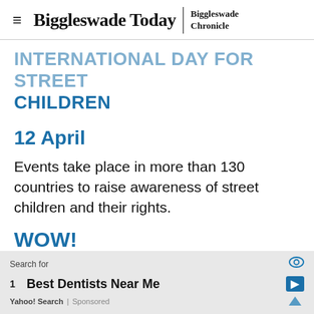Biggleswade Today | Biggleswade Chronicle
INTERNATIONAL DAY FOR STREET CHILDREN
12 April
Events take place in more than 130 countries to raise awareness of street children and their rights.
WOW!
The U...urrey on 10...